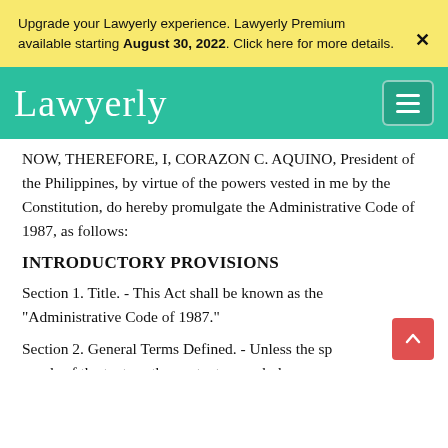Upgrade your Lawyerly experience. Lawyerly Premium available starting August 30, 2022. Click here for more details.
[Figure (logo): Lawyerly website navigation bar with teal background, cursive white Lawyerly logo on left and hamburger menu icon on right]
NOW, THEREFORE, I, CORAZON C. AQUINO, President of the Philippines, by virtue of the powers vested in me by the Constitution, do hereby promulgate the Administrative Code of 1987, as follows:
INTRODUCTORY PROVISIONS
Section 1. Title. - This Act shall be known as the "Administrative Code of 1987."
Section 2. General Terms Defined. - Unless the specific words of the text, or the context as a whole, or a